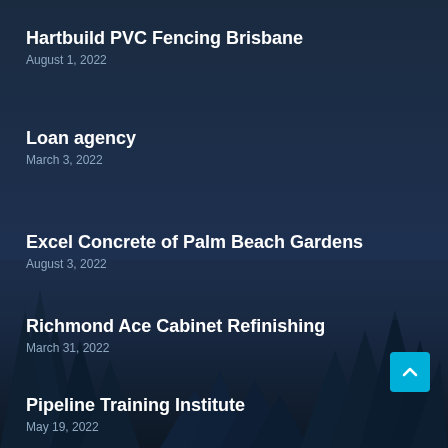Hartbuild PVC Fencing Brisbane
August 1, 2022
Loan agency
March 3, 2022
Excel Concrete of Palm Beach Gardens
August 3, 2022
Richmond Ace Cabinet Refinishing
March 31, 2022
Pipeline Training Institute
May 19, 2022